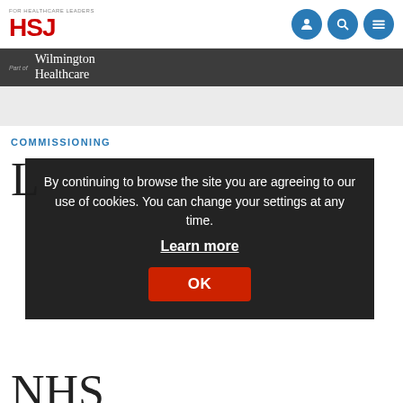[Figure (logo): HSJ logo - red bold letters with 'FOR HEALTHCARE LEADERS' text above]
[Figure (logo): Wilmington Healthcare logo in dark bar]
COMMISSIONING
By continuing to browse the site you are agreeing to our use of cookies. You can change your settings at any time. Learn more OK